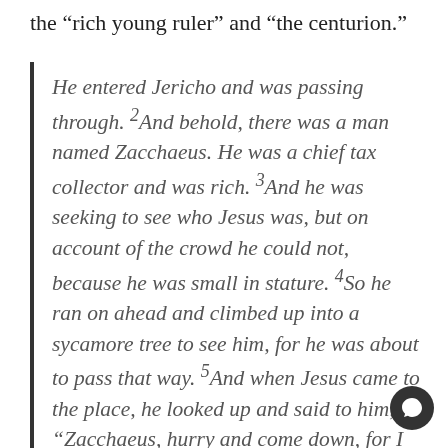the “rich young ruler” and “the centurion.”
He entered Jericho and was passing through. 2 And behold, there was a man named Zacchaeus. He was a chief tax collector and was rich. 3 And he was seeking to see who Jesus was, but on account of the crowd he could not, because he was small in stature. 4 So he ran on ahead and climbed up into a sycamore tree to see him, for he was about to pass that way. 5 And when Jesus came to the place, he looked up and said to him, “Zacchaeus, hurry and come down, for I must stay at your house today.” 6 So he hurried and came